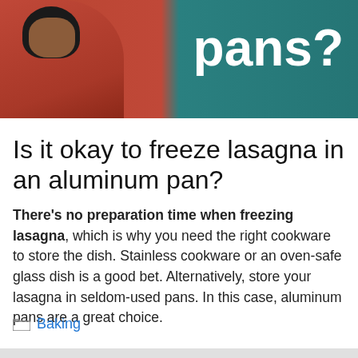[Figure (photo): A person in a red top on the left side, with text 'pans?' in large white bold font on a teal background on the right]
Is it okay to freeze lasagna in an aluminum pan?
There's no preparation time when freezing lasagna, which is why you need the right cookware to store the dish. Stainless cookware or an oven-safe glass dish is a good bet. Alternatively, store your lasagna in seldom-used pans. In this case, aluminum pans are a great choice.
Baking